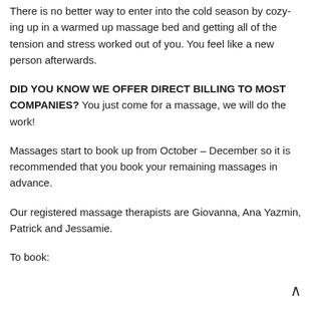There is no better way to enter into the cold season by cozy-ing up in a warmed up massage bed and getting all of the tension and stress worked out of you. You feel like a new person afterwards.
DID YOU KNOW WE OFFER DIRECT BILLING TO MOST COMPANIES? You just come for a massage, we will do the work!
Massages start to book up from October – December so it is recommended that you book your remaining massages in advance.
Our registered massage therapists are Giovanna, Ana Yazmin, Patrick and Jessamie.
To book: